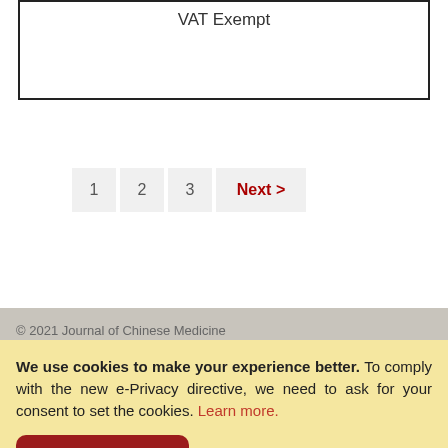| VAT Exempt |
1  2  3  Next >
© 2021 Journal of Chinese Medicine
We use cookies to make your experience better. To comply with the new e-Privacy directive, we need to ask for your consent to set the cookies. Learn more.
Allow Cookies